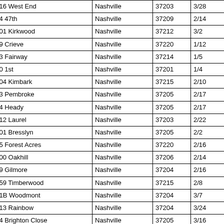| 1616 West End | Nashville | 37203 | 3/28 |
| 114 47th | Nashville | 37209 | 2/14 |
| 1401 Kirkwood | Nashville | 37212 | 3/2 |
| 519 Crieve | Nashville | 37220 | 1/12 |
| 263 Fairway | Nashville | 37214 | 1/5 |
| 700 1st | Nashville | 37201 | 1/4 |
| 1904 Kimbark | Nashville | 37215 | 2/10 |
| 103 Pembroke | Nashville | 37205 | 2/17 |
| 224 Heady | Nashville | 37205 | 2/17 |
| 1212 Laurel | Nashville | 37203 | 2/22 |
| 6201 Bresslyn | Nashville | 37205 | 2/2 |
| 815 Forest Acres | Nashville | 37220 | 2/16 |
| 1900 Oakhill | Nashville | 37206 | 2/14 |
| 909 Gilmore | Nashville | 37204 | 2/16 |
| 2059 Timberwood | Nashville | 37215 | 2/8 |
| 921B Woodmont | Nashville | 37204 | 3/7 |
| 3613 Rainbow | Nashville | 37204 | 3/24 |
| 124 Brighton Close | Nashville | 37205 | 3/16 |
| 1705 Green Hills | Nashville | 37215 | 3/25 |
| 4802 Dakota | Nashville | 37209 | 3/2 |
| 4108 Lone Oak | Nashville | 37215 | 3/16 |
| 3635 General Bate | Nashville | 37204 | 2/3 |
| 1616 West End | Nashville | 37203 | 3/18 |
| 514 Hobbs Creek | Nashville | 37215 | 3/3 |
| 4725 Central | Hermitage | 37076 | 2/2 |